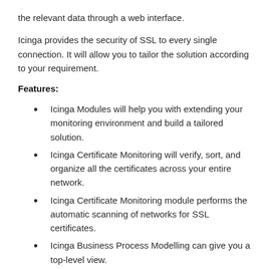the relevant data through a web interface.
Icinga provides the security of SSL to every single connection. It will allow you to tailor the solution according to your requirement.
Features:
Icinga Modules will help you with extending your monitoring environment and build a tailored solution.
Icinga Certificate Monitoring will verify, sort, and organize all the certificates across your entire network.
Icinga Certificate Monitoring module performs the automatic scanning of networks for SSL certificates.
Icinga Business Process Modelling can give you a top-level view.